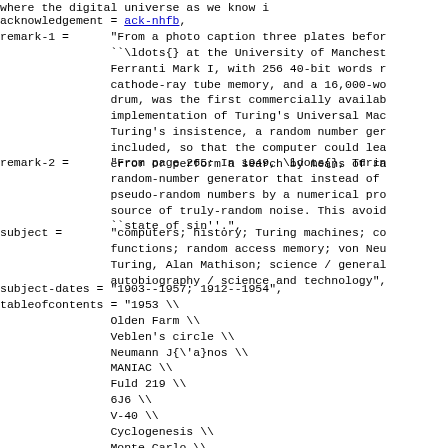where the digital universe as we know it...
acknowledgement = ack-nhfb,
remark-1 = "From a photo caption three plates before...\ldots{} at the University of Manchester Ferranti Mark I, with 256 40-bit words r... cathode-ray tube memory, and a 16,000-wo... drum, was the first commercially availab... implementation of Turing's Universal Mac... Turing's insistence, a random number ge... included, so that the computer could lea... error or perform a search by means of ra...",
remark-2 = "From page 265: In 1949, \ldots{}, Turi... random-number generator that instead of pseudo-random numbers by a numerical pro... source of truly-random noise. This avoic ``state of sin''.",
subject = "computers; history; Turing machines; co... functions; random access memory; von Neu... Turing, Alan Mathison; science / genera... autobiography / science and technology",
subject-dates = "1903--1957; 1912--1954",
tableofcontents = "1953 \\
                Olden Farm \\
                Veblen's circle \\
                Neumann J{\'a}nos \\
                MANIAC \\
                Fuld 219 \\
                6J6 \\
                V-40 \\
                Cyclogenesis \\
                Monte Carlo \\